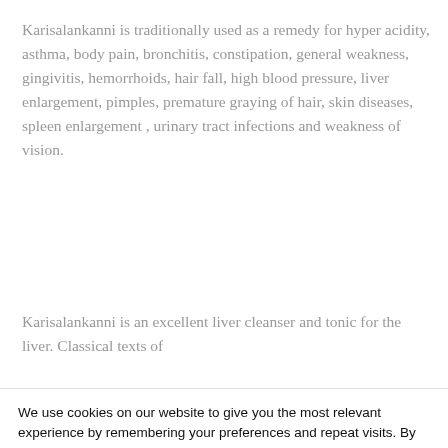Karisalankanni is traditionally used as a remedy for hyper acidity, asthma, body pain, bronchitis, constipation, general weakness, gingivitis, hemorrhoids, hair fall, high blood pressure, liver enlargement, pimples, premature graying of hair, skin diseases, spleen enlargement , urinary tract infections and weakness of vision.
Karisalankanni is an excellent liver cleanser and tonic for the liver. Classical texts of
We use cookies on our website to give you the most relevant experience by remembering your preferences and repeat visits. By clicking “Accept”, you consent to the use of ALL the cookies.
Do not sell my personal information.